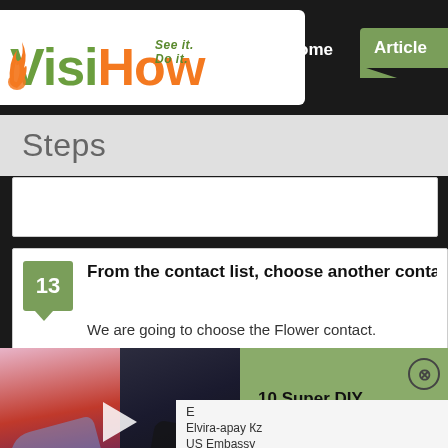[Figure (logo): VisiHow logo with tagline 'See it. Do it.' in green and orange colors]
Steps
13 From the contact list, choose another contact tha
We are going to choose the Flower contact.
[Figure (screenshot): Video player overlay showing '10 Super DIY Sneakers & Shoes Upgrades' on a green background with shoe photos and a play button]
[Figure (screenshot): Contact list showing 'E', 'Elvira-apay Kz', 'US Embassy']